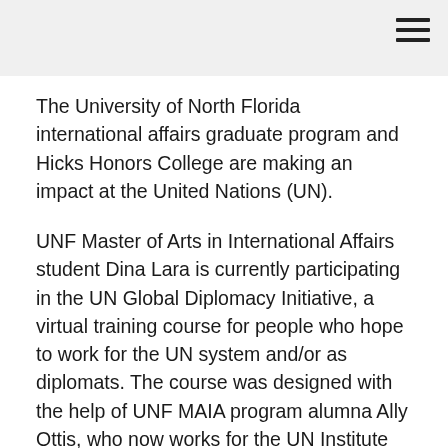☰
The University of North Florida international affairs graduate program and Hicks Honors College are making an impact at the United Nations (UN).
UNF Master of Arts in International Affairs student Dina Lara is currently participating in the UN Global Diplomacy Initiative, a virtual training course for people who hope to work for the UN system and/or as diplomats. The course was designed with the help of UNF MAIA program alumna Ally Ottis, who now works for the UN Institute for Training and Research. The course even utilizes a section on the UN Environment Program's Global Environmental Outlook (GEO-6), which cites the research of UNF MAIA director and associate professor Dr. Josh Gellers.